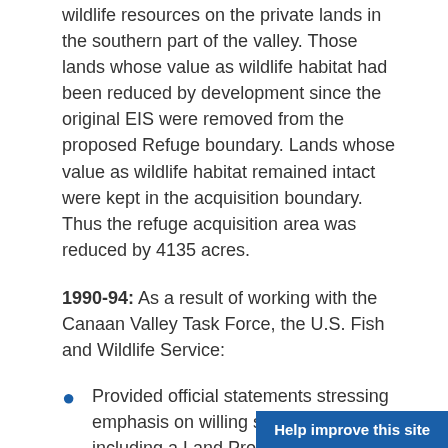wildlife resources on the private lands in the southern part of the valley. Those lands whose value as wildlife habitat had been reduced by development since the original EIS were removed from the proposed Refuge boundary. Lands whose value as wildlife habitat remained intact were kept in the acquisition boundary. Thus the refuge acquisition area was reduced by 4135 acres.
1990-94: As a result of working with the Canaan Valley Task Force, the U.S. Fish and Wildlife Service:
Provided official statements stressing emphasis on willing seller policy, including a Land Protection Plan.
Studied ORV impacts to Canaan's wetlands, the economics of the refuge proposal.
Participated in extensive co-ordination with agencies and the public.